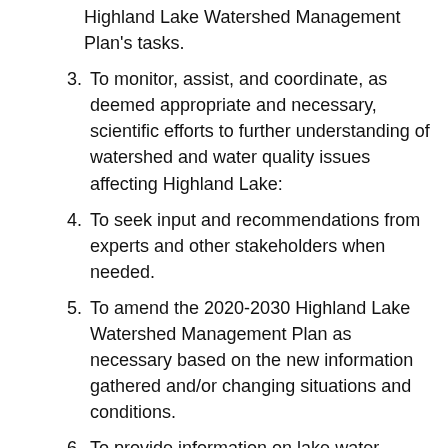Highland Lake Watershed Management Plan's tasks.
3. To monitor, assist, and coordinate, as deemed appropriate and necessary, scientific efforts to further understanding of watershed and water quality issues affecting Highland Lake:
4. To seek input and recommendations from experts and other stakeholders when needed.
5. To amend the 2020-2030 Highland Lake Watershed Management Plan as necessary based on the new information gathered and/or changing situations and conditions.
6. To provide information on lake water quality status and remediation efforts to the Highland Lake watershed landowners and the local community.
7. To report on the HLLT's progress and identify any resources needed to the governing bodies of the communities members of the...